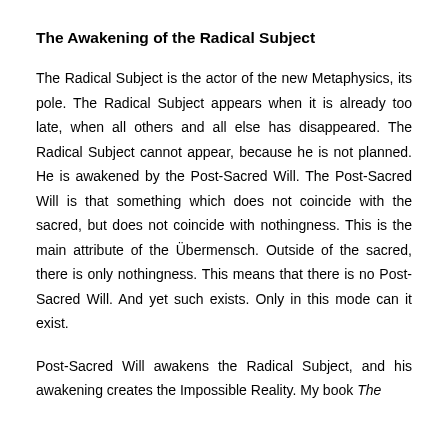The Awakening of the Radical Subject
The Radical Subject is the actor of the new Metaphysics, its pole. The Radical Subject appears when it is already too late, when all others and all else has disappeared. The Radical Subject cannot appear, because he is not planned. He is awakened by the Post-Sacred Will. The Post-Sacred Will is that something which does not coincide with the sacred, but does not coincide with nothingness. This is the main attribute of the Übermensch. Outside of the sacred, there is only nothingness. This means that there is no Post-Sacred Will. And yet such exists. Only in this mode can it exist.
Post-Sacred Will awakens the Radical Subject, and his awakening creates the Impossible Reality. My book The